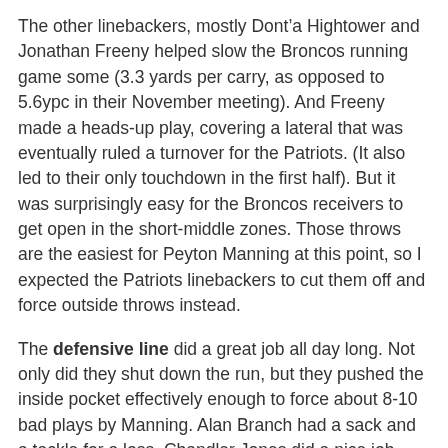The other linebackers, mostly Dont’a Hightower and Jonathan Freeny helped slow the Broncos running game some (3.3 yards per carry, as opposed to 5.6ypc in their November meeting). And Freeny made a heads-up play, covering a lateral that was eventually ruled a turnover for the Patriots. (It also led to their only touchdown in the first half). But it was surprisingly easy for the Broncos receivers to get open in the short-middle zones. Those throws are the easiest for Peyton Manning at this point, so I expected the Patriots linebackers to cut them off and force outside throws instead.
The defensive line did a great job all day long. Not only did they shut down the run, but they pushed the inside pocket effectively enough to force about 8-10 bad plays by Manning. Alan Branch had a sack and a tackle for a loss, Chandler Jones did a nice job dropping into coverage to force a sack of Manning, and Rob Ninkovich was instrumental in stopping the run.
The only really bad play by the D-line was losing contain on a Manning scramble. He gained a first down, and that